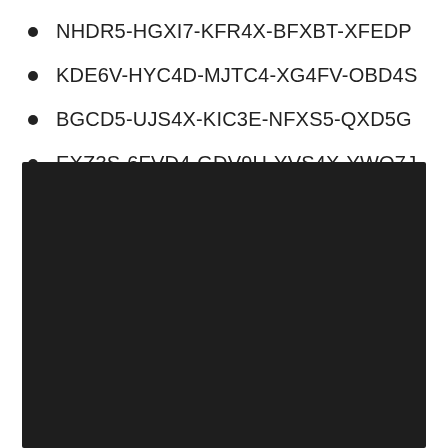NHDR5-HGXI7-KFR4X-BFXBT-XFEDP
KDE6V-HYC4D-MJTC4-XG4FV-OBD4S
BGCD5-UJS4X-KIC3E-NFXS5-QXD5G
EXZ3S-6FVD4-GDV9H-YVS4X-YWO7J
[Figure (other): Large dark/black rectangle occupying the lower portion of the page]